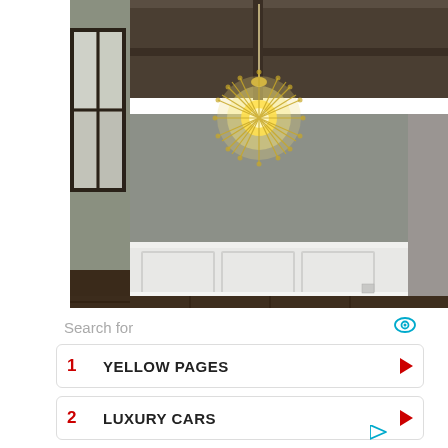[Figure (photo): Interior room photo showing a decorative starburst/dandelion chandelier hanging from a dark wood coffered ceiling, gray walls with white wainscoting panels, dark hardwood floors, and a window on the left side.]
Search for
1  YELLOW PAGES
2  LUXURY CARS